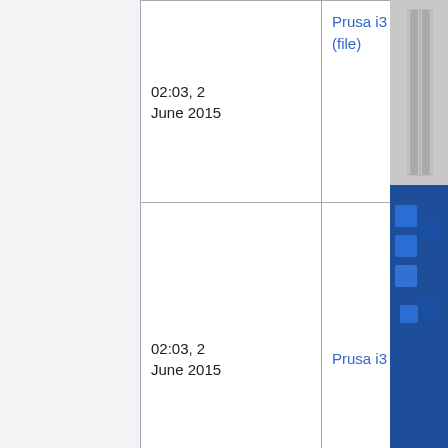| (empty) | Date | File |
| --- | --- | --- |
|  | 02:03, 2 June 2015 | Prusa i3 rods.jpg (file) |
|  | 02:03, 2 June 2015 | Prusa i3 y corners with caps.jpg (file) |
|  | 02:02, 2 June 2015 | Wantai 42byghw811nema17 stepper motors.jpg (file) |
|  | 01:51, 2 June 2015 | E3d v6 tools.jpg (file) |